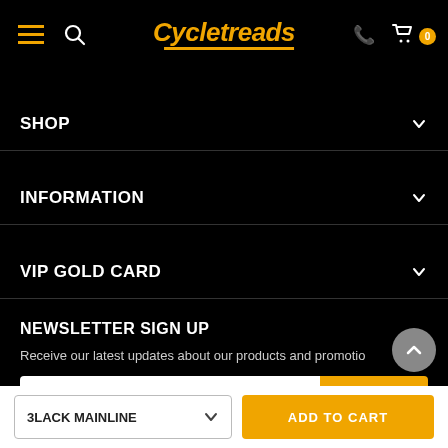[Figure (screenshot): Cycletreads website navigation header with hamburger menu, search icon, logo, phone icon, and cart with badge showing 0]
SHOP
INFORMATION
VIP GOLD CARD
NEWSLETTER SIGN UP
Receive our latest updates about our products and promotions
enter your email address | SUBSCRIBE
3LACK MAINLINE | ADD TO CART